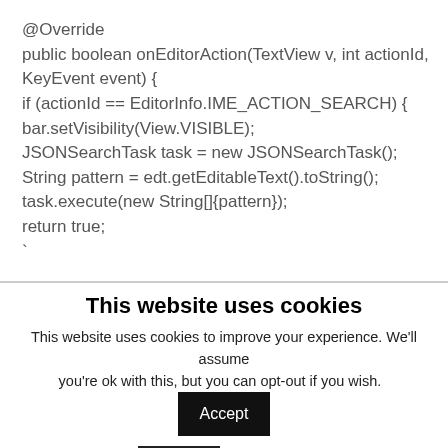@Override
public boolean onEditorAction(TextView v, int actionId,
KeyEvent event) {
if (actionId == EditorInfo.IME_ACTION_SEARCH) {
bar.setVisibility(View.VISIBLE);
JSONSearchTask task = new JSONSearchTask();
String pattern = edt.getEditableText().toString();
task.execute(new String[]{pattern});
return true;
`
This website uses cookies
This website uses cookies to improve your experience. We'll assume you're ok with this, but you can opt-out if you wish.